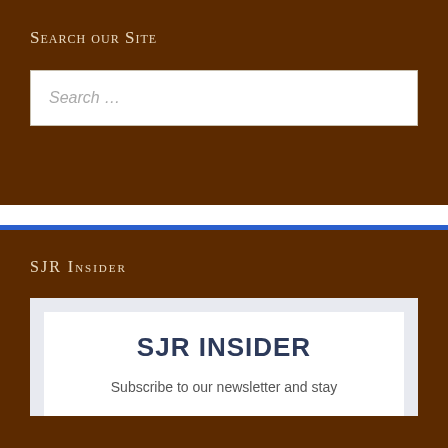Search our site
Search ...
SJR Insider
SJR INSIDER
Subscribe to our newsletter and stay